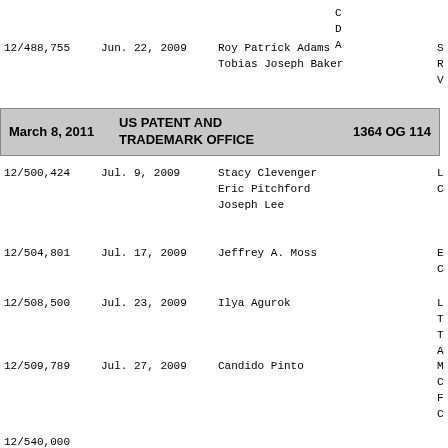12/488,755    Jun. 22, 2009    Roy Patrick Adams
                              Tobias Joseph Baker
March 8, 2011    US PATENT AND TRADEMARK OFFICE    1364 OG 114
12/500,424    Jul. 9, 2009    Stacy Clevenger
                             Eric Pitchford
                             Joseph Lee
12/504,801    Jul. 17, 2009    Jeffrey A. Moss
12/508,500    Jul. 23, 2009    Ilya Agurok
12/509,789    Jul. 27, 2009    Candido Pinto